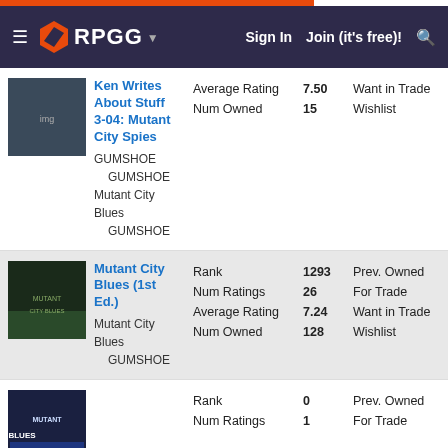RPGG | Sign In | Join (it's free)!
| Item | Stat | Value | Stat | Value |
| --- | --- | --- | --- | --- |
| Ken Writes About Stuff 3-04: Mutant City Spies | GUMSHOE / GUMSHOE / Mutant City Blues / GUMSHOE | Average Rating | 7.50 | Want in Trade | 0 |
| Ken Writes About Stuff 3-04: Mutant City Spies | GUMSHOE / GUMSHOE / Mutant City Blues / GUMSHOE | Num Owned | 15 | Wishlist | 0 |
| Mutant City Blues (1st Ed.) | Mutant City Blues / GUMSHOE | Rank | 1293 | Prev. Owned | 6 |
| Mutant City Blues (1st Ed.) | Mutant City Blues / GUMSHOE | Num Ratings | 26 | For Trade | 2 |
| Mutant City Blues (1st Ed.) | Mutant City Blues / GUMSHOE | Average Rating | 7.24 | Want in Trade | 0 |
| Mutant City Blues (1st Ed.) | Mutant City Blues / GUMSHOE | Num Owned | 128 | Wishlist | 13 |
| (3rd item) | Rank | 0 | Prev. Owned | 0 |
| (3rd item) | Num Ratings | 1 | For Trade | 0 |